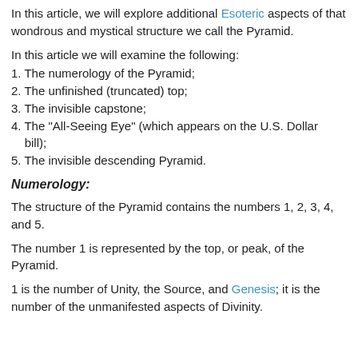In this article, we will explore additional Esoteric aspects of that wondrous and mystical structure we call the Pyramid.
In this article we will examine the following:
1. The numerology of the Pyramid;
2. The unfinished (truncated) top;
3. The invisible capstone;
4. The "All-Seeing Eye" (which appears on the U.S. Dollar bill);
5. The invisible descending Pyramid.
Numerology:
The structure of the Pyramid contains the numbers 1, 2, 3, 4, and 5.
The number 1 is represented by the top, or peak, of the Pyramid.
1 is the number of Unity, the Source, and Genesis; it is the number of the unmanifested aspects of Divinity.